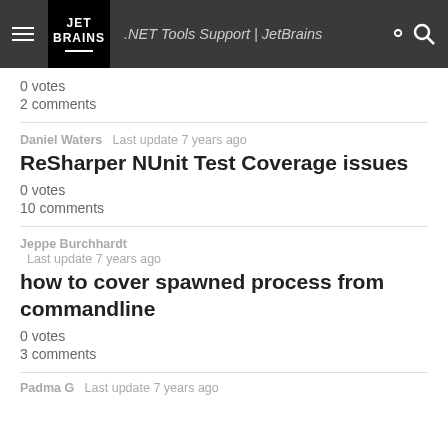.NET Tools Support | JetBrains
0 votes
2 comments
Daniel Waters   Last update 7 years ago
ReSharper NUnit Test Coverage issues
0 votes
10 comments
Jeppe Burchhardt   Last update 7 years ago
how to cover spawned process from commandline
0 votes
3 comments
Padma G   Last update 7 years ago